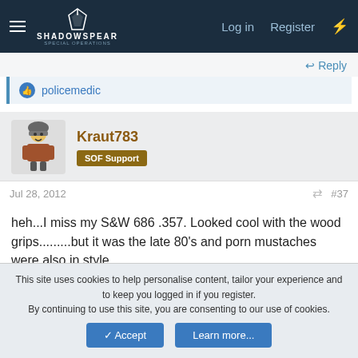SHADOWSPEAR | Log in | Register
Reply
policemedic
Kraut783 | SOF Support
Jul 28, 2012 | #37
heh...I miss my S&W 686 .357. Looked cool with the wood grips.........but it was the late 80's and porn mustaches were also in style...
Reply
This site uses cookies to help personalise content, tailor your experience and to keep you logged in if you register. By continuing to use this site, you are consenting to our use of cookies.